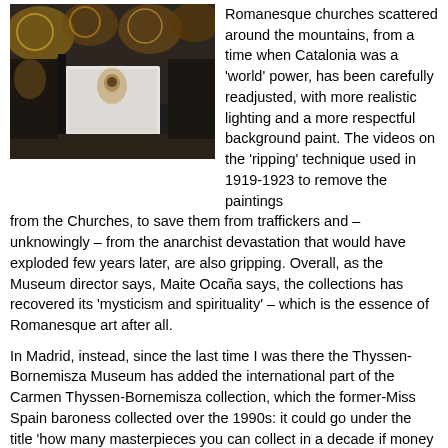[Figure (photo): Interior museum display showing Romanesque church artworks with painted walls and sculptural elements in a dark exhibition space.]
Romanesque churches scattered around the mountains, from a time when Catalonia was a 'world' power, has been carefully readjusted, with more realistic lighting and a more respectful background paint. The videos on the 'ripping' technique used in 1919-1923 to remove the paintings from the Churches, to save them from traffickers and – unknowingly – from the anarchist devastation that would have exploded few years later, are also gripping. Overall, as the Museum director says, Maite Ocaña says, the collections has recovered its 'mysticism and spirituality' – which is the essence of Romanesque art after all.
In Madrid, instead, since the last time I was there the Thyssen-Bornemisza Museum has added the international part of the Carmen Thyssen-Bornemisza collection, which the former-Miss Spain baroness collected over the 1990s: it could go under the title 'how many masterpieces you can collect in a decade if money is not an issue'.
Then there are also the temporary exhibitions, many of direct appeal to me. The 'Polonia' one in Madrid's Royal Palace (until the 4th of September) presents Leonardo's 'Lady with an Ermine'. But that is a painting I know well from its home in the Kraków's Czartoryskich museum, where it can be admired closely in total quiet and with the intimacy it deserves (after all the Lady, Cecilia Gallerani, was a fellow Milanese). Moreover, while exhibitions do have a point, I am not sure about 'celebrity tours' of first class paintings: as Botticelli's Primavera or Leonardo's Gioconda do not trot the globe, the Lady